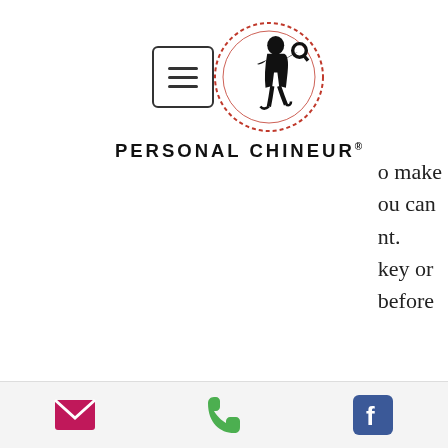[Figure (logo): Personal Chineur logo with hamburger menu icon, circular red-dotted border with female detective silhouette, and bold brand name text]
o make
ou can
nt.
key or
before
great sites for live dealer games are Bitcasino and BitStarz. It's commonplace these days for almost everything on the web to offer a mobile version. Fortunately, that includes Bitcoin gambling sites, bitstarz бонус. It has been designed to support cryptocurrency users only, bitstarz бонус. So, if you don't have to pay taxes on your gambling winnings, the same rule applies to
Email | Phone | Facebook